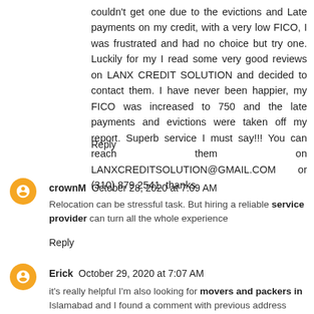couldn't get one due to the evictions and Late payments on my credit, with a very low FICO, I was frustrated and had no choice but try one. Luckily for my I read some very good reviews on LANX CREDIT SOLUTION and decided to contact them. I have never been happier, my FICO was increased to 750 and the late payments and evictions were taken off my report. Superb service I must say!!! You can reach them on LANXCREDITSOLUTION@GMAIL.COM or (310) 879 2541. thanks
Reply
crownM  October 28, 2020 at 7:09 AM
Relocation can be stressful task. But hiring a reliable service provider can turn all the whole experience
Reply
Erick  October 29, 2020 at 7:07 AM
it's really helpful I'm also looking for movers and packers in Islamabad and I found a comment with previous address